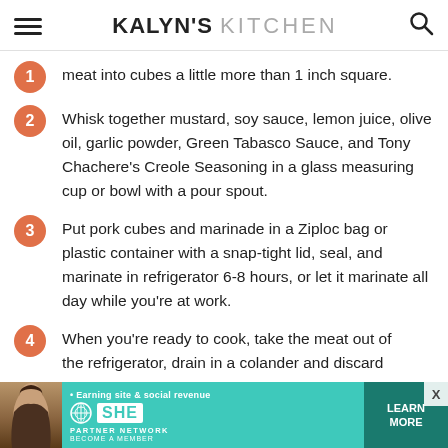KALYN'S KITCHEN
meat into cubes a little more than 1 inch square.
Whisk together mustard, soy sauce, lemon juice, olive oil, garlic powder, Green Tabasco Sauce, and Tony Chachere's Creole Seasoning in a glass measuring cup or bowl with a pour spout.
Put pork cubes and marinade in a Ziploc bag or plastic container with a snap-tight lid, seal, and marinate in refrigerator 6-8 hours, or let it marinate all day while you're at work.
When you're ready to cook, take the meat out of the refrigerator, drain in a colander and discard
[Figure (infographic): SHE Media partner network advertisement banner with woman photo, earn site and social revenue text, SHE logo, PARTNER NETWORK, BECOME A MEMBER text, and LEARN MORE green button]